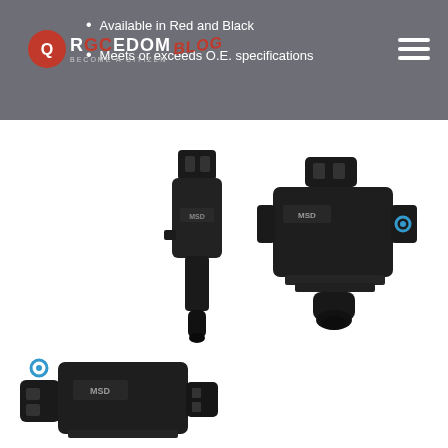RACEDOM BECOME A CITIZEN BLOG
Available in Red and Black
Meets or exceeds O.E. specifications
[Figure (photo): MSD ignition coil pencil-type, front view, black]
[Figure (photo): MSD ignition coil compact block-type, angled side view, black]
[Figure (photo): MSD ignition coil compact block-type, close-up angled view from below, black]